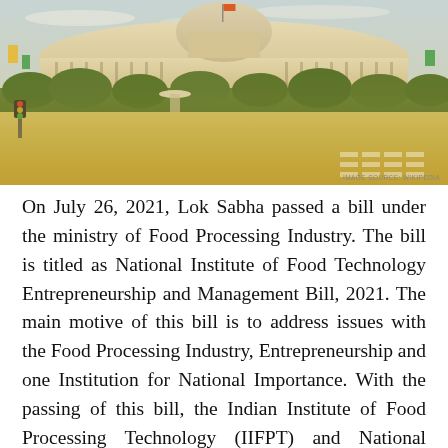[Figure (photo): Photograph of what appears to be the Indian Parliament building (Sansad Bhavan) in New Delhi, with trees lining a road in the foreground, taken on a sunny day. Image source: Wikipedia.]
On July 26, 2021, Lok Sabha passed a bill under the ministry of Food Processing Industry. The bill is titled as National Institute of Food Technology Entrepreneurship and Management Bill, 2021. The main motive of this bill is to address issues with the Food Processing Industry, Entrepreneurship and one Institution for National Importance. With the passing of this bill, the Indian Institute of Food Processing Technology (IIFPT) and National Institute of Food Technology Entrepreneurship and Management (NIFTEM) is now merged as Institutions of National Importance, and it aims at